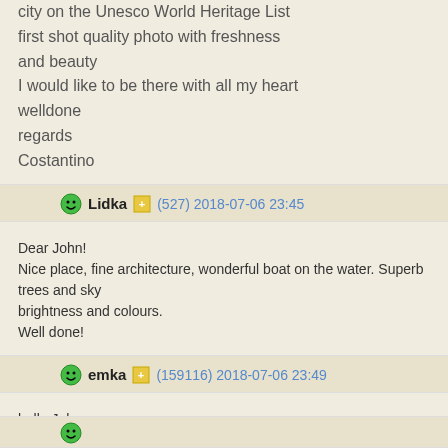city on the Unesco World Heritage List
first shot quality photo with freshness and beauty
I would like to be there with all my heart
welldone
regards
Costantino
Lidka (527) 2018-07-06 23:45
Dear John!
Nice place, fine architecture, wonderful boat on the water. Superb trees and sky brightness and colours.
Well done!
emka (159116) 2018-07-06 23:49
hello John,

What a pleasure to walk around Bruges on a sunny summer day. Also going with great tourist attraction. Charming composition.

Kind regards Malgo